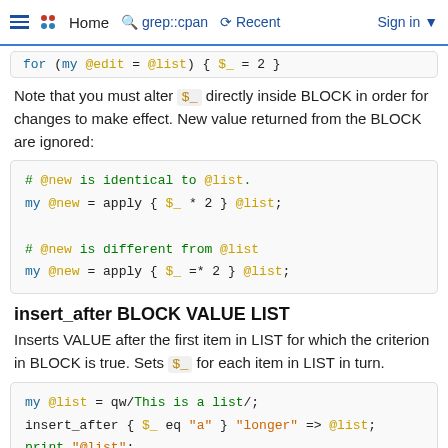Home  grep::cpan  Recent  Sign in
for (my @edit = @list) { $_ = 2 }
Note that you must alter $_ directly inside BLOCK in order for changes to make effect. New value returned from the BLOCK are ignored:
# @new is identical to @list.
my @new = apply { $_ * 2 } @list;

# @new is different from @list
my @new = apply { $_ =* 2 } @list;
insert_after BLOCK VALUE LIST
Inserts VALUE after the first item in LIST for which the criterion in BLOCK is true. Sets $_ for each item in LIST in turn.
my @list = qw/This is a list/;
insert_after { $_ eq "a" } "longer" => @list;
print "@list";